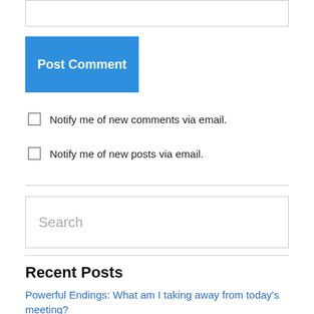[input box]
Post Comment
Notify me of new comments via email.
Notify me of new posts via email.
Search
Recent Posts
Powerful Endings: What am I taking away from today's meeting?
What's Next? Transitioning from all-virtual forum meetings to the new “normal”
Guiding principles to discuss race (and other potentially contentious